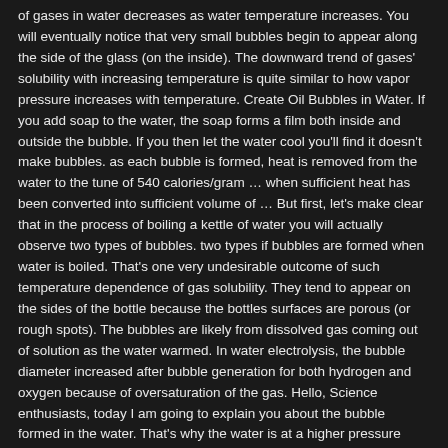of gases in water decreases as water temperature increases. You will eventually notice that very small bubbles begin to appear along the side of the glass (on the inside). The downward trend of gases' solubility with increasing temperature is quite similar to how vapor pressure increases with temperature. Create Oil Bubbles in Water. If you add soap to the water, the soap forms a film both inside and outside the bubble. If you then let the water cool you'll find it doesn't make bubbles. as each bubble is formed, heat is removed from the water to the tune of 540 calories/gram … when sufficient heat has been converted into sufficient volume of … But first, let's make clear that in the process of boiling a kettle of water you will actually observe two types of bubbles. two types if bubbles are formed when water is boiled. That's one very undesirable outcome of such temperature dependence of gas solubility. They tend to appear on the sides of the bottle because the bottles surfaces are porous (or rough spots). The bubbles are likely from dissolved gas coming out of solution as the water warmed. In water electrolysis, the bubble diameter increased after bubble generation for both hydrogen and oxygen because of oversaturation of the gas. Hello, Science enthusiasts, today I am going to explain you about the bubble formed in the water. That's why the water is at a higher pressure than normal (while in the pipes), and is also cooler. The simplest way to explain this dependence is that as pressure increases, gas molecules are forced into the solution so that the applied pressure can be relieved. Step 2 – Next, add a cup of vegetable oil to the jar. If you reboil water, bubbles may not form. Why Is It So Special? If you add soap